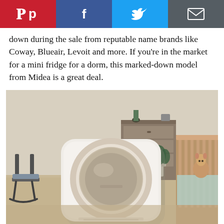Social sharing bar: Pinterest, Facebook, Twitter, Email
down during the sale from reputable name brands like Coway, Blueair, Levoit and more. If you're in the market for a mini fridge for a dorm, this marked-down model from Midea is a great deal.
[Figure (photo): A white square air purifier with a circular front panel sitting on a beige carpet in a nursery room. A wooden crib with a stuffed animal is visible on the right, a rocking chair on the left, and a dresser in the background near a window.]
Coway AP-1512HH HEPA Air Purifi...